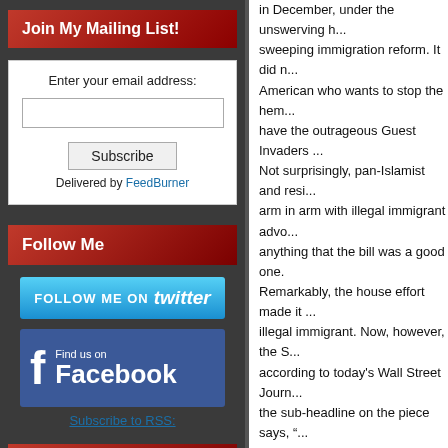Join My Mailing List!
Enter your email address:
Subscribe
Delivered by FeedBurner
Follow Me
[Figure (screenshot): Follow Me on Twitter button (blue)]
[Figure (screenshot): Find us on Facebook button]
Subscribe to RSS:
Search
in December, under the unswerving h... sweeping immigration reform. It did n... American who wants to stop the hem... have the outrageous Guest Invaders ... Not surprisingly, pan-Islamist and resi... arm in arm with illegal immigrant advo... anything that the bill was a good one. Remarkably, the house effort made it ... illegal immigrant. Now, however, the S... according to today's Wall Street Journ... the sub-headline on the piece says, "... Workers Already in the U.S."
Why Won't Senate Make
That's exactly right. Without stopping ... helping them (including ), there is no c... borders and for to save money, etc. Sadly, Arlen Specter, Republicrat cha... the legislation, doesn't want to include... legislation. He claims it is in the natio... available workers" from the pool of ille... While I'm normally a fan of the Manha...